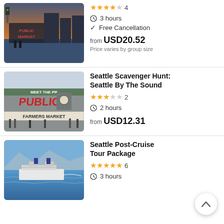[Figure (photo): Public Market sign at sunset with waterfront view in Seattle]
★★★★☆ 4
⏱ 3 hours
✓ Free Cancellation
from USD20.52
Price varies by group size
[Figure (photo): Pike Place Public Market and Farmers Market exterior with crowds]
Seattle Scavenger Hunt: Seattle By The Sound
★★★☆☆ 2
⏱ 2 hours
from USD12.31
[Figure (photo): Cruise ship on blue water near Seattle]
Seattle Post-Cruise Tour Package
★★★★★ 6
⏱ 3 hours